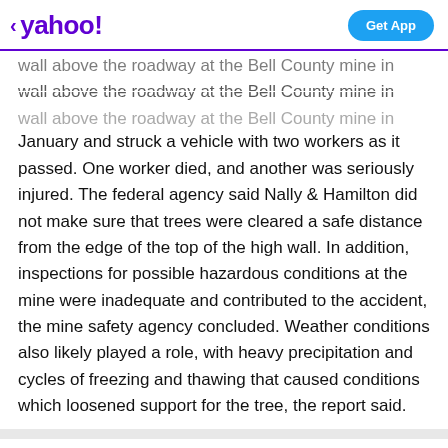< yahoo!   Get App
wall above the roadway at the Bell County mine in January and struck a vehicle with two workers as it passed. One worker died, and another was seriously injured. The federal agency said Nally & Hamilton did not make sure that trees were cleared a safe distance from the edge of the top of the high wall. In addition, inspections for possible hazardous conditions at the mine were inadequate and contributed to the accident, the mine safety agency concluded. Weather conditions also likely played a role, with heavy precipitation and cycles of freezing and thawing that caused conditions which loosened support for the tree, the report said.
View comments